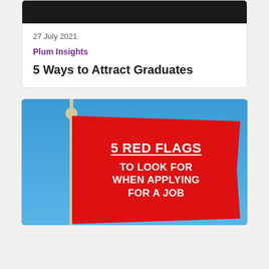[Figure (photo): Dark top portion of a photo, partially cropped at the top of the first card]
27 July 2021
Plum Insights
5 Ways to Attract Graduates
[Figure (photo): A red flag on a flagpole against a blue sky, with white bold text reading '5 RED FLAGS TO LOOK FOR WHEN APPLYING FOR A JOB']